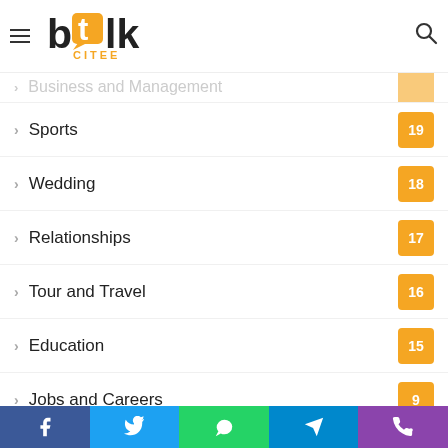blk CITEE — navigation header with logo and search icon
Sports 19
Wedding 18
Relationships 17
Tour and Travel 16
Education 15
Jobs and Careers 9
Shopping 4
World 3
Internet 2
Law and Orders
Social share buttons: Facebook, Twitter, WhatsApp, Telegram, Phone/Viber